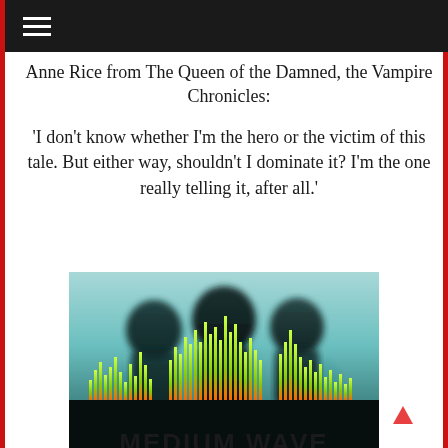≡ (hamburger menu icon)
Anne Rice from The Queen of the Damned, the Vampire Chronicles:
'I don't know whether I'm the hero or the victim of this tale. But either way, shouldn't I dominate it? I'm the one really telling it, after all.'
[Figure (photo): Book cover of 'Medium Wave' featuring dark silhouettes of figures above a cityscape of glowing green equalizer bars on a teal/cyan background with dramatic lighting]
[Figure (other): Red upward-pointing arrow icon for back-to-top navigation]